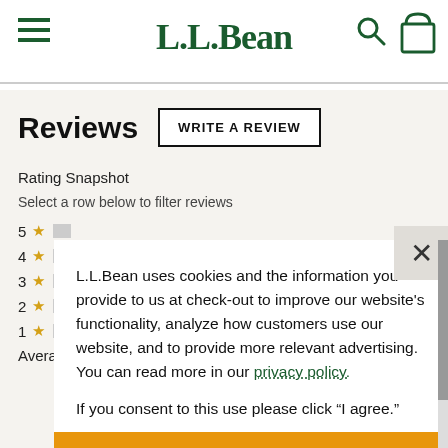L.L.Bean
Reviews
WRITE A REVIEW
Rating Snapshot
Select a row below to filter reviews
5 ★
4 ★
3 ★
2 ★
1 ★
Average
L.L.Bean uses cookies and the information you provide to us at check-out to improve our website's functionality, analyze how customers use our website, and to provide more relevant advertising. You can read more in our privacy policy.

If you consent to this use please click "I agree."
I agree